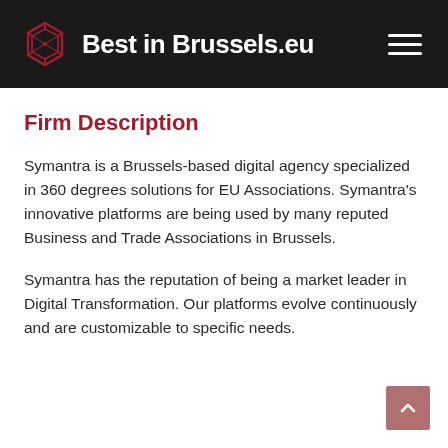Best in Brussels.eu
Firm Description
Symantra is a Brussels-based digital agency specialized in 360 degrees solutions for EU Associations. Symantra's innovative platforms are being used by many reputed Business and Trade Associations in Brussels.
Symantra has the reputation of being a market leader in Digital Transformation. Our platforms evolve continuously and are customizable to specific needs.